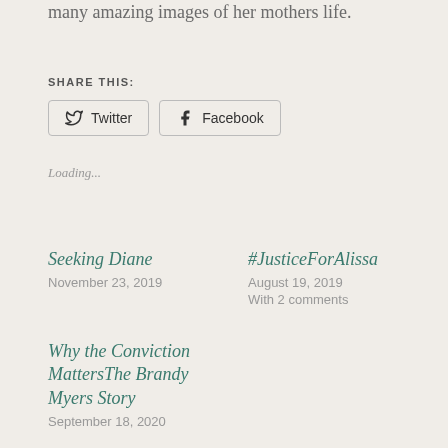many amazing images of her mothers life.
SHARE THIS:
Twitter  Facebook
Loading...
Seeking Diane
November 23, 2019
#JusticeForAlissa
August 19, 2019
With 2 comments
Why the Conviction MattersThe Brandy Myers Story
September 18, 2020